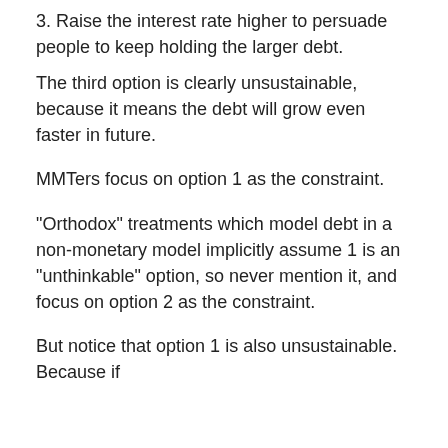3. Raise the interest rate higher to persuade people to keep holding the larger debt.
The third option is clearly unsustainable, because it means the debt will grow even faster in future.
MMTers focus on option 1 as the constraint.
"Orthodox" treatments which model debt in a non-monetary model implicitly assume 1 is an "unthinkable" option, so never mention it, and focus on option 2 as the constraint.
But notice that option 1 is also unsustainable. Because if